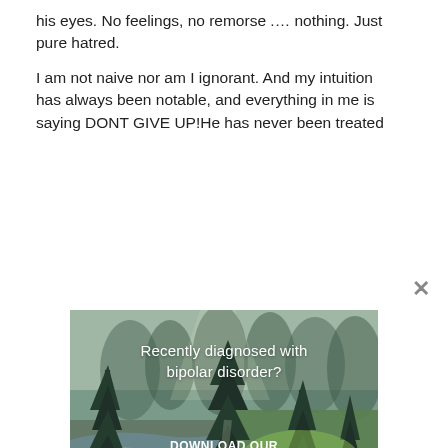his eyes. No feelings, no remorse ..... nothing. Just pure hatred.

I am not naive nor am I ignorant. And my intuition has always been notable, and everything in me is saying DONT GIVE UP!He has never been treated
[Figure (illustration): Advertisement image showing a forest scene with a river and trees, overlaid with text: 'Recently diagnosed with bipolar disorder? DOWNLOAD OUR FREE EBOOK NOW.' with an underline beneath.]
advertisement